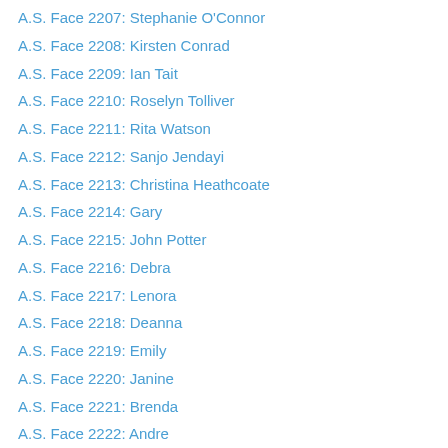A.S. Face 2207: Stephanie O'Connor
A.S. Face 2208: Kirsten Conrad
A.S. Face 2209: Ian Tait
A.S. Face 2210: Roselyn Tolliver
A.S. Face 2211: Rita Watson
A.S. Face 2212: Sanjo Jendayi
A.S. Face 2213: Christina Heathcoate
A.S. Face 2214: Gary
A.S. Face 2215: John Potter
A.S. Face 2216: Debra
A.S. Face 2217: Lenora
A.S. Face 2218: Deanna
A.S. Face 2219: Emily
A.S. Face 2220: Janine
A.S. Face 2221: Brenda
A.S. Face 2222: Andre
A.S. Face 2223: Amy Goodwin
A.S. Face 2224: Michelle
A.S. Face 2225: Rebekah
A.S. Face 2226: Rachael Clarissa